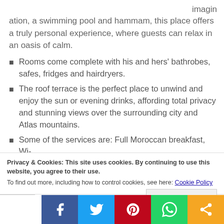imagin
ation, a swimming pool and hammam, this place offers a truly personal experience, where guests can relax in an oasis of calm.
Rooms come complete with his and hers' bathrobes, safes, fridges and hairdryers.
The roof terrace is the perfect place to unwind and enjoy the sun or evening drinks, affording total privacy and stunning views over the surrounding city and Atlas mountains.
Some of the services are: Full Moroccan breakfast, Wi-
Privacy & Cookies: This site uses cookies. By continuing to use this website, you agree to their use.
To find out more, including how to control cookies, see here: Cookie Policy
Close and accept